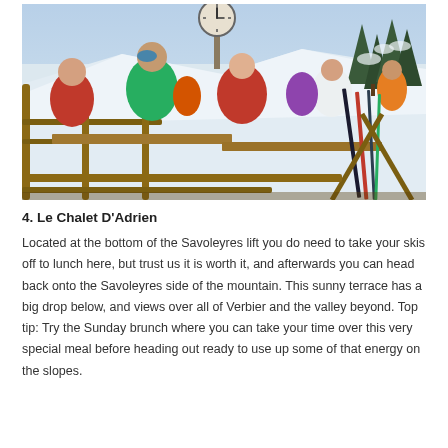[Figure (photo): Outdoor ski resort terrace scene. People in ski gear sit at wooden tables eating and drinking. A large clock is visible on a post in the background. Snow-covered mountains and pine trees are in the background. Skis are propped against wooden fencing on the right. People are wearing colourful ski jackets.]
4. Le Chalet D'Adrien
Located at the bottom of the Savoleyres lift you do need to take your skis off to lunch here, but trust us it is worth it, and afterwards you can head back onto the Savoleyres side of the mountain. This sunny terrace has a big drop below, and views over all of Verbier and the valley beyond. Top tip: Try the Sunday brunch where you can take your time over this very special meal before heading out ready to use up some of that energy on the slopes.